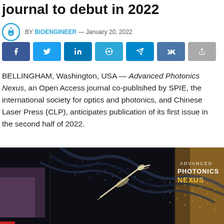journal to debut in 2022
BY BIOENGINEER — January 20, 2022
[Figure (other): Social share buttons: Facebook, Twitter, LinkedIn, Reddit, Telegram, VK, Share]
BELLINGHAM, Washington, USA — Advanced Photonics Nexus, an Open Access journal co-published by SPIE, the international society for optics and photonics, and Chinese Laser Press (CLP), anticipates publication of its first issue in the second half of 2022.
[Figure (photo): Journal cover of Advanced Photonics Nexus showing a stylized photonic wave pattern in dark background with gold and blue tones, with the text ADVANCED PHOTONICS NEXUS overlaid]